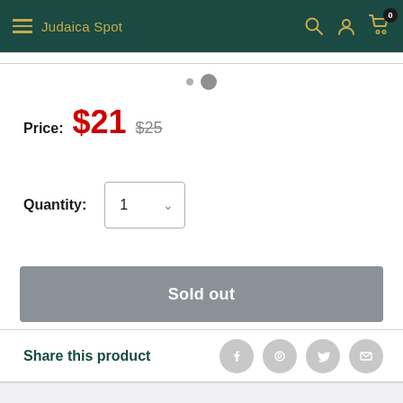Judaica Spot
Price: $21  $25
Quantity: 1
Sold out
Share this product